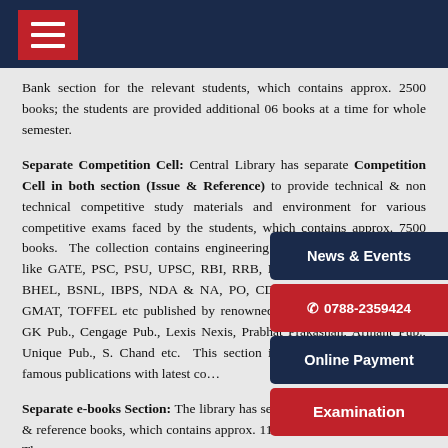Navigation bar with hamburger menu
Bank section for the relevant students, which contains approx. 2500 books; the students are provided additional 06 books at a time for whole semester.
Separate Competition Cell: Central Library has separate Competition Cell in both section (Issue & Reference) to provide technical & non technical competitive study materials and environment for various competitive exams faced by the students, which contains approx. 7500 books. The collection contains engineering & other competitive books like GATE, PSC, PSU, UPSC, RBI, RRB, LIC, DRDO, ONGC, SAIL, BHEL, BSNL, IBPS, NDA & NA, PO, CDS, SSC, CAT, MAT, GRE, GMAT, TOFFEL etc published by renowned publisher like Made Easy, GK Pub., Cengage Pub., Lexis Nexis, Prabhat Prakashan, Arihant Pub., Unique Pub., S. Chand etc. This section is responsible for procuring famous publications with latest contents.
Separate e-books Section: The library has separate section for text books & reference books, which contains approx. 1100 titles and 6500 volumes. The